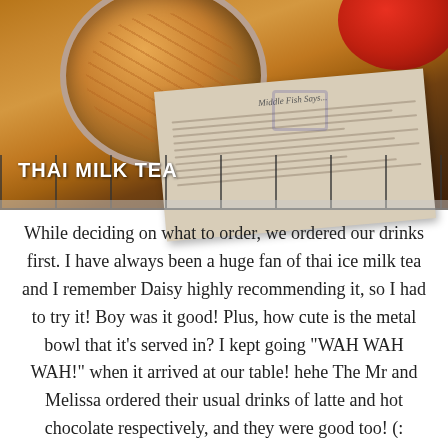[Figure (photo): Photo of Thai milk tea served in a metal bowl, alongside a restaurant menu paper. A red bowl is visible in the top right. White text overlay reads 'THAI MILK TEA'.]
While deciding on what to order, we ordered our drinks first. I have always been a huge fan of thai ice milk tea and I remember Daisy highly recommending it, so I had to try it! Boy was it good! Plus, how cute is the metal bowl that it’s served in? I kept going “WAH WAH WAH!” when it arrived at our table! hehe The Mr and Melissa ordered their usual drinks of latte and hot chocolate respectively, and they were good too! (: